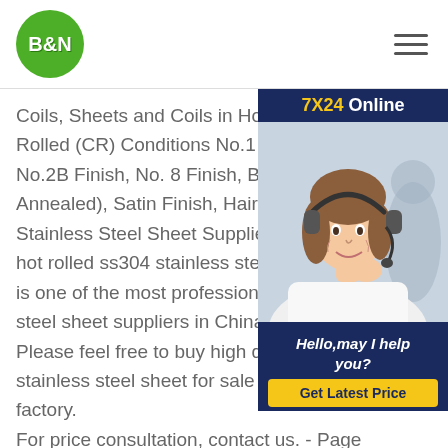B&N
[Figure (infographic): 7X24 Online customer service advertisement banner with a woman wearing a headset, and a 'Get Latest Price' button. Text: 'Hello, may I help you?']
Coils, Sheets and Coils in Hot Rolled (HR) Cold Rolled (CR) Conditions No.1 Finish, No.2B Finish, No. 8 Finish, BA Finish (Bright Annealed), Satin Finish, Hairline Finish Stainless Steel Sheet Suppliers, Factory hot rolled ss304 stainless steel coilSUNSTEEL is one of the most professional hot rolled stainless steel sheet suppliers in China for over 10 years. Please feel free to buy high quality hot rolled stainless steel sheet for sale here from our factory. For price consultation, contact us. - Page 10Manufacturers Of ASTM A240 304 Stainless Steel Coil SS buy hot rolled ss304 stainless steel coil304